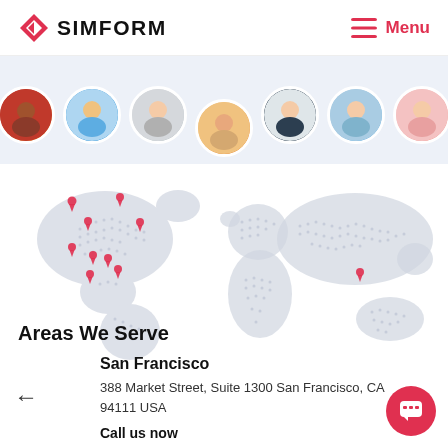[Figure (logo): Simform logo: red diamond/arrow icon followed by bold text SIMFORM]
≡ Menu
[Figure (photo): Row of seven circular avatar photos of team members on a light blue-grey background strip]
[Figure (map): Dotted world map with red location pin markers clustered in North America and one in Asia]
Areas We Serve
San Francisco
388 Market Street, Suite 1300 San Francisco, CA 94111 USA
Call us now